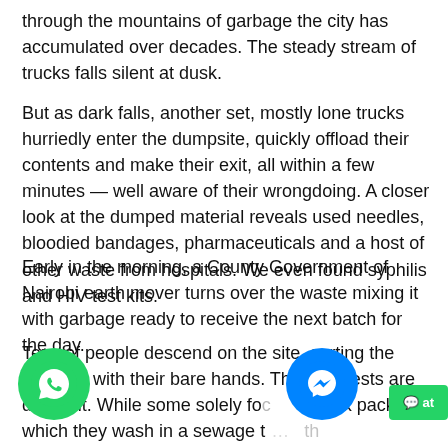through the mountains of garbage the city has accumulated over decades. The steady stream of trucks falls silent at dusk.
But as dark falls, another set, mostly lone trucks hurriedly enter the dumpsite, quickly offload their contents and make their exit, all within a few minutes — well aware of their wrongdoing. A closer look at the dumped material reveals used needles, bloodied bandages, pharmaceuticals and a host of other waste from hospitals. We even found syphilis and HIV test kits.
Early in the morning, a County Government of Nairobi earth mover turns over the waste mixing it with garbage ready to receive the next batch for the day.
Tens of people descend on the site, sorting the garbage with their bare hands. Their interests are different. While some solely fo... milk packets which they wash in a sewage t... o... interested in salvaging metals from the bu... he... uelled by the excessive gas underneath.